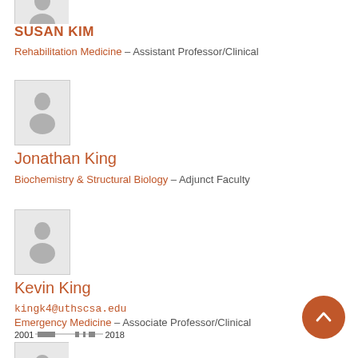[Figure (illustration): Gray placeholder avatar for Susan Kim (partially cropped at top)]
SUSAN KIM
Rehabilitation Medicine – Assistant Professor/Clinical
[Figure (illustration): Gray placeholder avatar for Jonathan King]
Jonathan King
Biochemistry & Structural Biology – Adjunct Faculty
[Figure (illustration): Gray placeholder avatar for Kevin King]
Kevin King
kingk4@uthscsa.edu
Emergency Medicine – Associate Professor/Clinical
2001 [timeline bar] 2018
[Figure (illustration): Gray placeholder avatar for next person (partially cropped at bottom)]